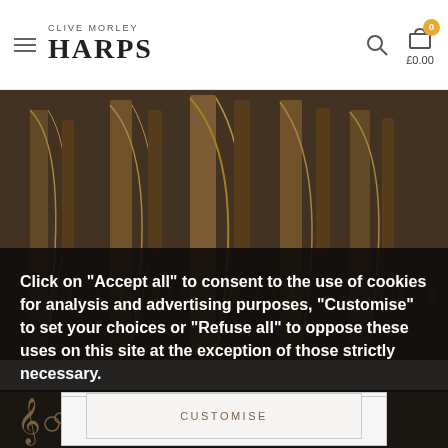CLIVE MORLEY HARPS
[Figure (photo): Row of harps displayed in a room with ornate architecture, warm golden tones]
Click on "Accept all" to consent to the use of cookies for analysis and advertising purposes, "Customise" to set your choices or "Refuse all" to oppose these uses on this site at the exception of those strictly necessary.
[Figure (logo): Clive Morley Harps decorative music logo in bottom left]
CUSTOMISE
REFUSE ALL